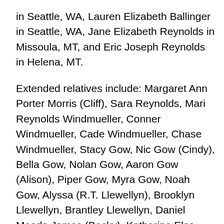in Seattle, WA, Lauren Elizabeth Ballinger in Seattle, WA, Jane Elizabeth Reynolds in Missoula, MT, and Eric Joseph Reynolds in Helena, MT.
Extended relatives include: Margaret Ann Porter Morris (Cliff), Sara Reynolds, Mari Reynolds Windmueller, Conner Windmueller, Cade Windmueller, Chase Windmueller, Stacy Gow, Nic Gow (Cindy), Bella Gow, Nolan Gow, Aaron Gow (Alison), Piper Gow, Myra Gow, Noah Gow, Alyssa (R.T. Llewellyn), Brooklyn Llewellyn, Brantley Llewellyn, Daniel Meade James (Becky), Katherine Elsa James, Julia Lindamar James, William Porter James (Eve), Daniel Douglas James, Kenneth Joe James, Linda Maryanne James, Marjorie Jacobs, Brenda Jacobs, Ann Jacobs Jones, Theo Jacobs Edmison, Jesse Jacobs Jones, Jefferson Mast-Morris (Amy), Benjamin Mast-Morris, Theodore Mast-Morris,